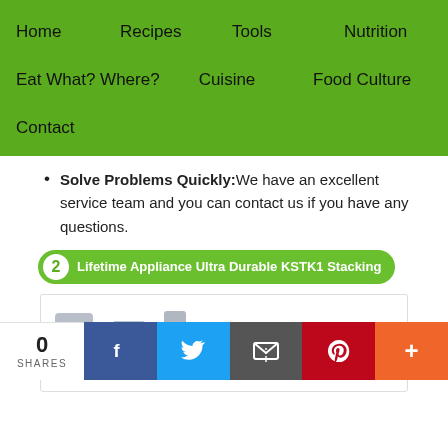Home  Recipes  Tools  Nutrition  Eat What? Where?  Cuisine  Food Culture  Contact
Solve Problems Quickly: We have an excellent service team and you can contact us if you have any questions.
2  Lifetime Appliance Ultra Durable KSTK1 Stacking
[Figure (photo): Product images of Lifetime Appliance Ultra Durable KSTK1 Stacking kit components shown as metal brackets]
Lifetime A Ultra Dura
0 SHARES  [Facebook] [Twitter] [Email] [Pinterest] [More]